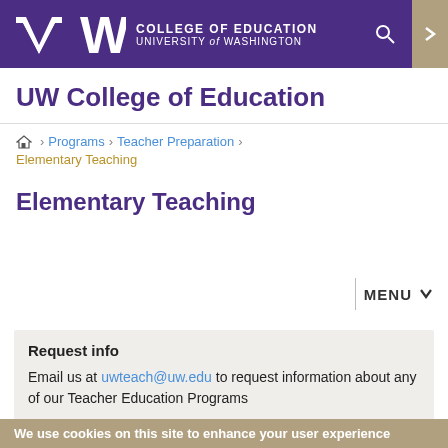COLLEGE OF EDUCATION UNIVERSITY of WASHINGTON
UW College of Education
Home > Programs > Teacher Preparation > Elementary Teaching
Elementary Teaching
MENU
Request info
Email us at uwteach@uw.edu to request information about any of our Teacher Education Programs
We use cookies on this site to enhance your user experience